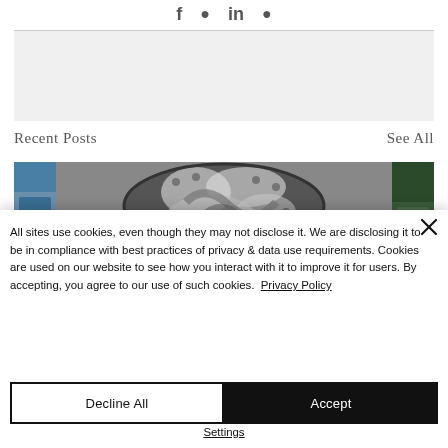[Figure (screenshot): Partial view of a website showing social media icons at top, a gray content block, 'Recent Posts' and 'See All' labels, and a row of three blog post thumbnail images (partial left image, center washing machine/laundry black-and-white photo, partial right image).]
All sites use cookies, even though they may not disclose it. We are disclosing it to be in compliance with best practices of privacy & data use requirements. Cookies are used on our website to see how you interact with it to improve it for users. By accepting, you agree to our use of such cookies.  Privacy Policy
Decline All
Accept
Settings